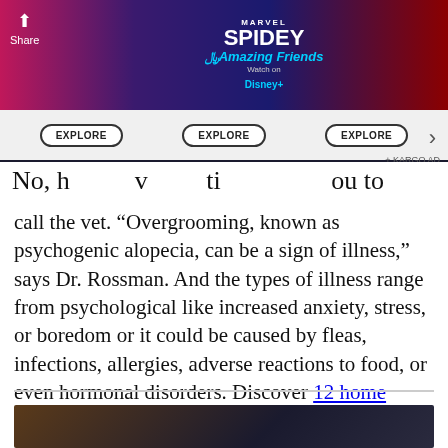[Figure (screenshot): Advertisement banner for Marvel Spidey and His Amazing Friends on Disney+, with EXPLORE buttons and KARGO AD label. Partially visible social share button on top left and navigation arrow on right.]
No, [text cut off] you to call the vet. “Overgrooming, known as psychogenic alopecia, can be a sign of illness,” says Dr. Rossman. And the types of illness range from psychological like increased anxiety, stress, or boredom or it could be caused by fleas, infections, allergies, adverse reactions to food, or even hormonal disorders. Discover 12 home remedies for fleas.
[Figure (photo): Partially visible photograph at the bottom of the page, showing a dark scene.]